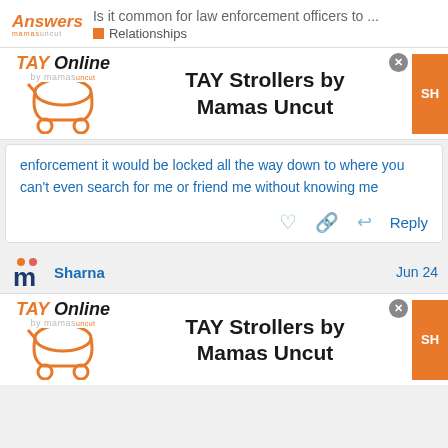Is it common for law enforcement officers to ... | Relationships
[Figure (screenshot): TAY Online by Mamas Uncut advertisement banner with stroller logo and orange SHOP button]
enforcement it would be locked all the way down to where you can't even search for me or friend me without knowing me
[Figure (screenshot): User avatar icon for Mamas Uncut platform]
Sharna
Jun 24
[Figure (screenshot): TAY Strollers by Mamas Uncut advertisement banner with stroller logo and orange SHOP button]